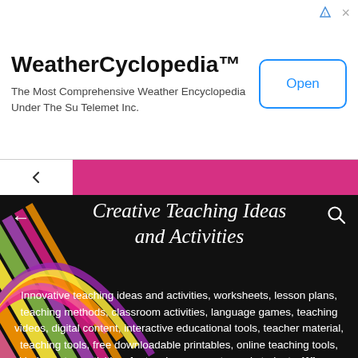WeatherCyclopedia™
The Most Comprehensive Weather Encyclopedia Under The Su Telemet Inc.
[Figure (screenshot): Ad banner with WeatherCyclopedia app, Open button]
Creative Teaching Ideas and Activities
Innovative teaching ideas and activities, worksheets, lesson plans, teaching methods, classroom activities, language games, teaching videos, digital content, interactive educational tools, teacher material, teaching tools, free downloadable printables, online teaching tools, kindergarten activities, for teachers, parents, and students. Winner "British Council's Featured Blog of the Month Award."